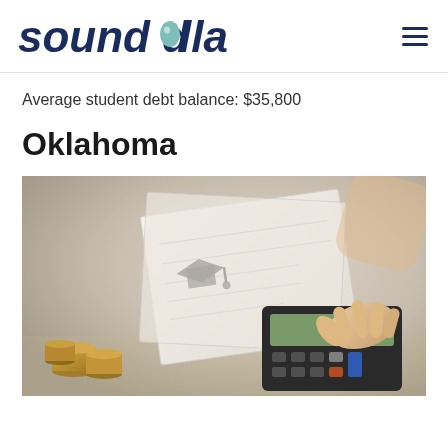sound dollar
Average student debt balance: $35,800
Oklahoma
[Figure (photo): Person using a calculator with papers and coins on a desk, related to financial calculations and student debt]